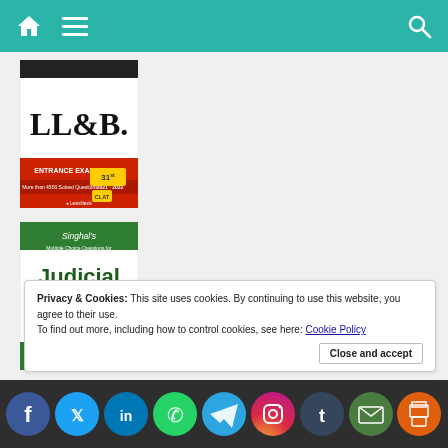Navigation bar with home, menu, and search icons
[Figure (photo): Book cover: LL.B. Entrance Examination 2021-2022, 31st Edition, CLAT, More than 4500 Solved Questions, LexisNexis]
[Figure (photo): Book cover: Singhal's Multiple Choice Questions for Judicial Service Examination, Chapter-Wise and Topic-Wise, includes Indian Penal Code, Indian Evidence Act, Code of Civil Procedure, Code of Criminal Procedure]
Privacy & Cookies: This site uses cookies. By continuing to use this website, you agree to their use. To find out more, including how to control cookies, see here: Cookie Policy
Close and accept
Social share bar: Facebook, Twitter, LinkedIn, WhatsApp, Telegram, Instagram, Tumblr, Email, Print